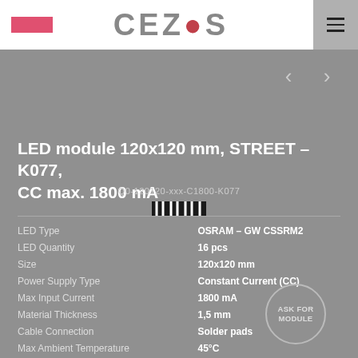CEZOS
LED module 120x120 mm, STREET – K077, CC max. 1800 mA
Q0-120120-xxx-C1800-K077
| Property | Value |
| --- | --- |
| LED Type | OSRAM – GW CSSRM2 |
| LED Quantity | 16 pcs |
| Size | 120x120 mm |
| Power Supply Type | Constant Current (CC) |
| Max Input Current | 1800 mA |
| Material Thickness | 1,5 mm |
| Cable Connection | Solder pads |
| Max Ambient Temperature | 45°C |
| CRI | >70 |
| Product Status | For Request |